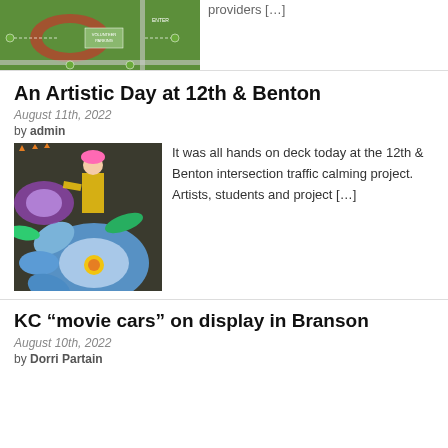[Figure (map): Aerial/site map showing green field with parking areas labeled 'VOLUNTEER PARKING', entrance marked 'ENTER', roads and paths]
providers […]
An Artistic Day at 12th & Benton
August 11th, 2022
by admin
[Figure (photo): Person in yellow safety vest kneeling on colorful street mural painting large floral design with blue, purple, and yellow flowers at 12th & Benton intersection]
It was all hands on deck today at the 12th & Benton intersection traffic calming project. Artists, students and project […]
KC “movie cars” on display in Branson
August 10th, 2022
by Dorri Partain